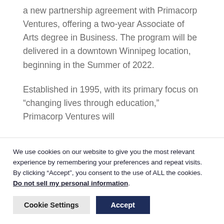a new partnership agreement with Primacorp Ventures, offering a two-year Associate of Arts degree in Business. The program will be delivered in a downtown Winnipeg location, beginning in the Summer of 2022.
Established in 1995, with its primary focus on “changing lives through education,” Primacorp Ventures will
We use cookies on our website to give you the most relevant experience by remembering your preferences and repeat visits. By clicking “Accept”, you consent to the use of ALL the cookies. Do not sell my personal information.
Cookie Settings
Accept